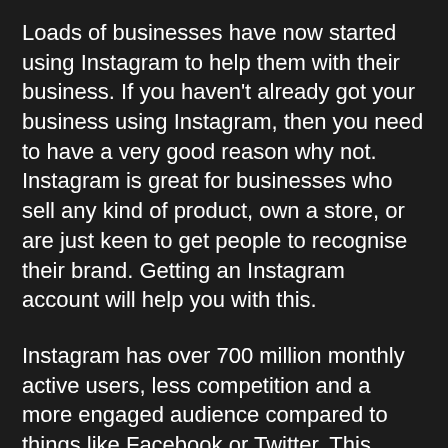Loads of businesses have now started using Instagram to help them with their business. If you haven't already got your business using Instagram, then you need to have a very good reason why not. Instagram is great for businesses who sell any kind of product, own a store, or are just keen to get people to recognise their brand. Getting an Instagram account will help you with this.
Instagram has over 700 million monthly active users, less competition and a more engaged audience compared to things like Facebook or Twitter. This means that you can market your products to a more targeted and interested audience without having to spend a lot of money on it. Facebook is more for connecting people with content from family and friends, whereas Instagram is becoming “the new homes for